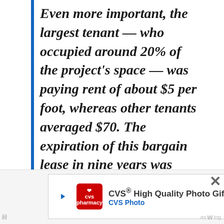Even more important, the largest tenant — who occupied around 20% of the project's space — was paying rent of about $5 per foot, whereas other tenants averaged $70. The expiration of this bargain lease in nine years was certain to provide a major boost to earnings. The property's location was also superb: NYU wasn't going anywhere.
[Figure (other): CVS High Quality Photo Gifts advertisement banner with CVS pharmacy logo, directional icon, and close button]